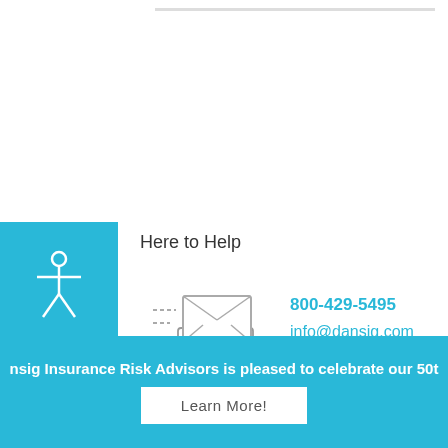Here to Help
[Figure (illustration): Envelope/mail icon with motion lines indicating sending]
800-429-5495
info@dansig.com
Our Locations
Decatur, IL Office
Taylorville, IL Office
nsig Insurance Risk Advisors is pleased to celebrate our 50t
Learn More!